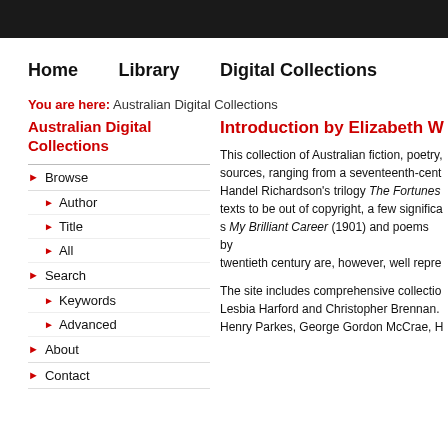Home    Library    Digital Collections
You are here: Australian Digital Collections
Australian Digital Collections
Browse
Author
Title
All
Search
Keywords
Advanced
About
Contact
Introduction by Elizabeth We
This collection of Australian fiction, poetry, sources, ranging from a seventeenth-cent Handel Richardson's trilogy The Fortunes texts to be out of copyright, a few significa s My Brilliant Career (1901) and poems by twentieth century are, however, well repre
The site includes comprehensive collectio Lesbia Harford and Christopher Brennan. Henry Parkes, George Gordon McCrae, H